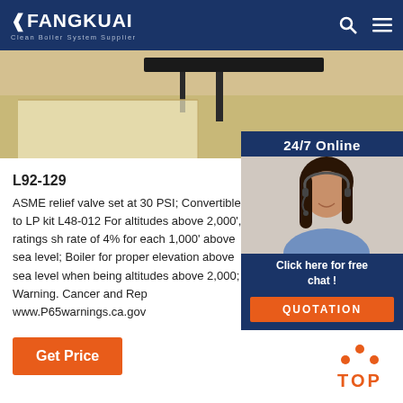FANGKUAI Clean Boiler System Supplier
[Figure (photo): Interior room hero image showing ceiling-mounted equipment/beam structure with warm beige walls]
[Figure (photo): 24/7 Online chat widget showing a smiling female customer service representative wearing a headset, with a QUOTATION button]
L92-129
ASME relief valve set at 30 PSI; Convertible to LP kit L48-012 For altitudes above 2,000', ratings sh rate of 4% for each 1,000' above sea level; Boiler for proper elevation above sea level when being altitudes above 2,000; Warning. Cancer and Rep www.P65warnings.ca.gov
Get Price